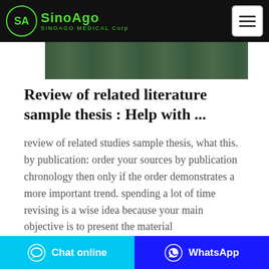SinoAgo Medical Corp
[Figure (photo): Partial image strip showing a dark green/teal colored photograph at the top of the article]
Review of related literature sample thesis : Help with ...
review of related studies sample thesis, what this. by publication: order your sources by publication chronology then only if the order demonstrates a more important trend. spending a lot of time revising is a wise idea because your main objective is to present the material
Chat online | WhatsApp